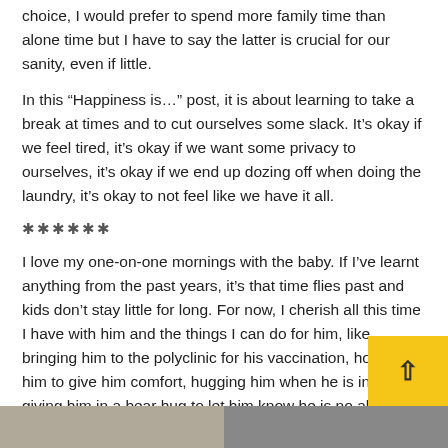choice, I would prefer to spend more family time than alone time but I have to say the latter is crucial for our sanity, even if little.
In this “Happiness is…” post, it is about learning to take a break at times and to cut ourselves some slack. It’s okay if we feel tired, it’s okay if we want some privacy to ourselves, it’s okay if we end up dozing off when doing the laundry, it’s okay to not feel like we have it all.
* * * * * *
I love my one-on-one mornings with the baby. If I’ve learnt anything from the past years, it’s that time flies past and kids don’t stay little for long. For now, I cherish all this time I have with him and the things I can do for him, like bringing him to the polyclinic for his vaccination, holding him to give him comfort, hugging him when he is in p and giving him in a bear hug to let him know he is no alone.
[Figure (photo): Photo strip at bottom of page showing two images side by side]